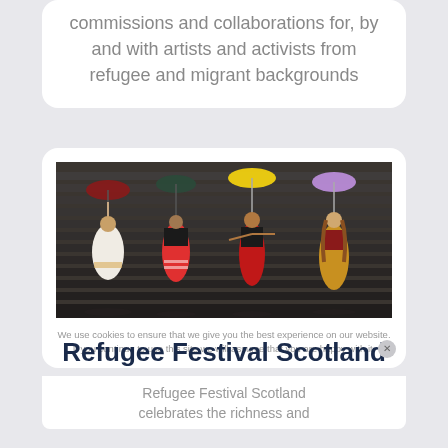commissions and collaborations for, by and with artists and activists from refugee and migrant backgrounds
[Figure (photo): Four women standing on stone stairs, each holding a different colored umbrella (dark red/maroon, teal/dark, yellow, purple/lavender). They wear colorful traditional and artistic costumes: white dress, black top with red skirt, red dress, and gold/red dress.]
We use cookies to ensure that we give you the best experience on our website. If you continue to use this site we will assume that you are happy with it.
Refugee Festival Scotland
Refugee Festival Scotland celebrates the richness and